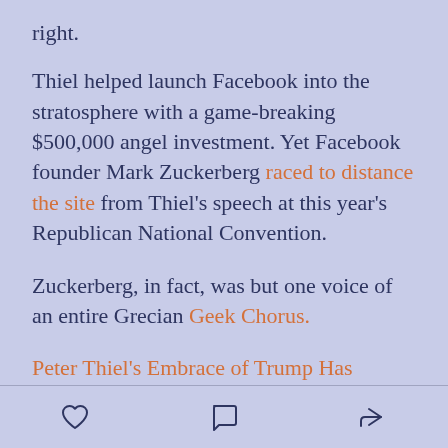right.
Thiel helped launch Facebook into the stratosphere with a game-breaking $500,000 angel investment. Yet Facebook founder Mark Zuckerberg raced to distance the site from Thiel’s speech at this year’s Republican National Convention.
Zuckerberg, in fact, was but one voice of an entire Grecian Geek Chorus.
Peter Thiel’s Embrace of Trump Has Silicon Valley Squirming
[heart icon] [comment icon] [share icon]